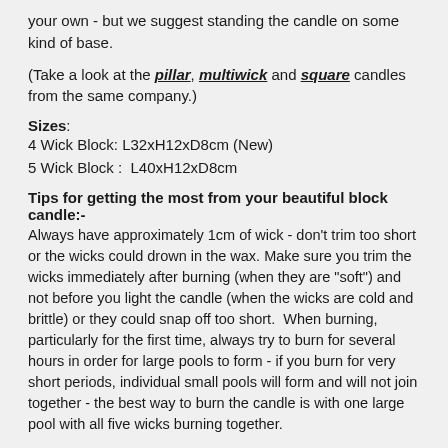your own - but we suggest standing the candle on some kind of base.
(Take a look at the pillar, multiwick and square candles from the same company.)
Sizes: 4 Wick Block: L32xH12xD8cm (New) 5 Wick Block : L40xH12xD8cm
Tips for getting the most from your beautiful block candle:- Always have approximately 1cm of wick - don't trim too short or the wicks could drown in the wax. Make sure you trim the wicks immediately after burning (when they are "soft") and not before you light the candle (when the wicks are cold and brittle) or they could snap off too short. When burning, particularly for the first time, always try to burn for several hours in order for large pools to form - if you burn for very short periods, individual small pools will form and will not join together - the best way to burn the candle is with one large pool with all five wicks burning together.